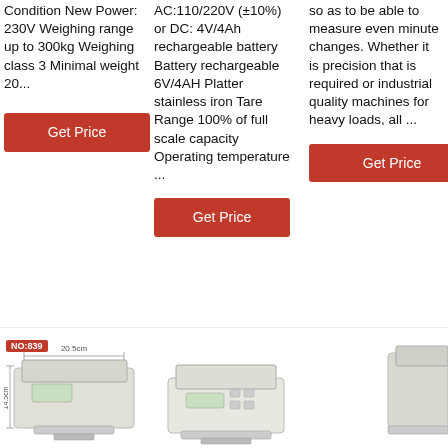Condition New Power: 230V Weighing range up to 300kg Weighing class 3 Minimal weight 20...
AC:110/220V (±10%) or DC: 4V/4Ah rechargeable battery Battery rechargeable 6V/4AH Platter stainless iron Tare Range 100% of full scale capacity Operating temperature ...
so as to be able to measure even minute changes. Whether it is precision that is required or industrial quality machines for heavy loads, all ...
Get Price
Get Price
Get Price
[Figure (photo): Product image of a scale/weighing device with NO:839 label, dimensions shown]
[Figure (photo): Product image of a weighing scale, light colored]
[Figure (photo): Partial product image of a scale on the right side]